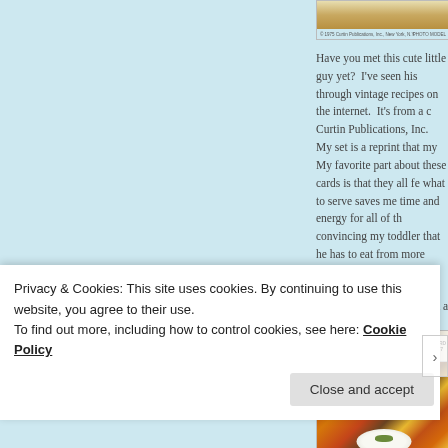[Figure (photo): Top portion of a vintage recipe card showing a food photo, with copyright text '© 1975 Curtin Publications, Inc., New York, N.Y.' at the bottom left and 'PHOTO MODEL' at bottom right]
Have you met this cute little guy yet?  I've seen his through vintage recipes on the internet.  It's from a c Curtin Publications, Inc.  My set is a reprint that my My favorite part about these cards is that they all fe what to serve saves me time and energy for all of th convincing my toddler that he has to eat from more
As cute as the Seafood Mousse is, I tragically lack a
[Figure (photo): Vintage recipe card for 'Chili Beans with Corn Muffins' (Card 107, Budget Dishes series) showing a food photograph with a white plate, dark chili beans, corn muffins, and decorative flowers]
Privacy & Cookies: This site uses cookies. By continuing to use this website, you agree to their use.
To find out more, including how to control cookies, see here: Cookie Policy
Close and accept